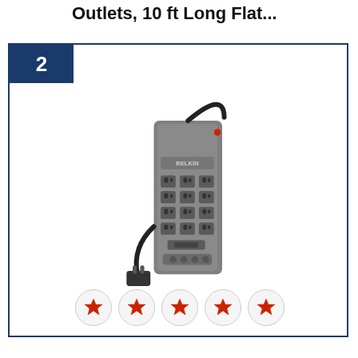Outlets, 10 ft Long Flat...
[Figure (photo): Belkin surge protector power strip with 12 outlets and a 10 ft flat cord, shown standing vertically in gray color with black power cable]
2
[Figure (infographic): Five red star rating icons in individual gray circle buttons indicating a 5-star rating]